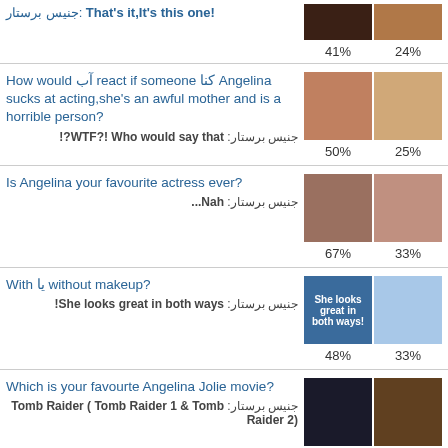جنيس برستار: That's it,It's this one! — 41% / 24%
How would آب react if someone كنا Angelina sucks at acting,she's an awful mother and is a horrible person? جنيس برستار: WTF?! Who would say that?! — 50% / 25%
Is Angelina your favourite actress ever? جنيس برستار: Nah... — 67% / 33%
With يا without makeup? جنيس برستار: She looks great in both ways! — 48% / 33%
Which is your favourte Angelina Jolie movie? جنيس برستار: Tomb Raider ( Tomb Raider 1 & Tomb Raider 2) — 32% / 18%